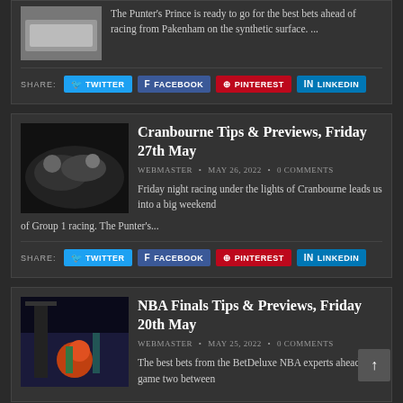The Punter's Prince is ready to go for the best bets ahead of racing from Pakenham on the synthetic surface. ...
SHARE: TWITTER FACEBOOK PINTEREST LINKEDIN
Cranbourne Tips & Previews, Friday 27th May
WEBMASTER • MAY 26, 2022 • 0 COMMENTS
Friday night racing under the lights of Cranbourne leads us into a big weekend of Group 1 racing. The Punter's...
SHARE: TWITTER FACEBOOK PINTEREST LINKEDIN
NBA Finals Tips & Previews, Friday 20th May
WEBMASTER • MAY 25, 2022 • 0 COMMENTS
The best bets from the BetDeluxe NBA experts ahead of game two between